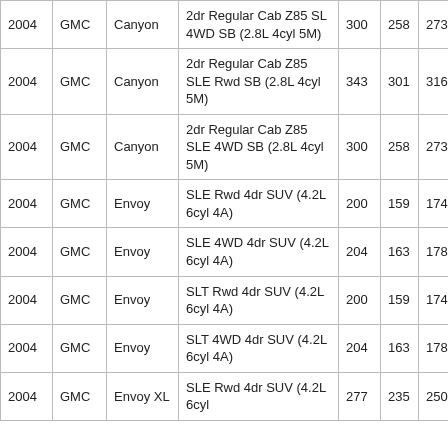| 2004 | GMC | Canyon | 2dr Regular Cab Z85 SL 4WD SB (2.8L 4cyl 5M) | 300 | 258 | 273 |
| 2004 | GMC | Canyon | 2dr Regular Cab Z85 SLE Rwd SB (2.8L 4cyl 5M) | 343 | 301 | 316 |
| 2004 | GMC | Canyon | 2dr Regular Cab Z85 SLE 4WD SB (2.8L 4cyl 5M) | 300 | 258 | 273 |
| 2004 | GMC | Envoy | SLE Rwd 4dr SUV (4.2L 6cyl 4A) | 200 | 159 | 174 |
| 2004 | GMC | Envoy | SLE 4WD 4dr SUV (4.2L 6cyl 4A) | 204 | 163 | 178 |
| 2004 | GMC | Envoy | SLT Rwd 4dr SUV (4.2L 6cyl 4A) | 200 | 159 | 174 |
| 2004 | GMC | Envoy | SLT 4WD 4dr SUV (4.2L 6cyl 4A) | 204 | 163 | 178 |
| 2004 | GMC | Envoy XL | SLE Rwd 4dr SUV (4.2L 6cyl | 277 | 235 | 250 |